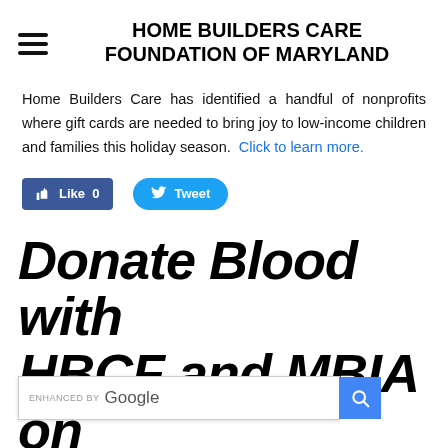HOME BUILDERS CARE FOUNDATION OF MARYLAND
Home Builders Care has identified a handful of nonprofits where gift cards are needed to bring joy to low-income children and families this holiday season. Click to learn more.
[Figure (other): Facebook Like button (Like 0) and Twitter Tweet button]
Donate Blood with HBCF and MBIA on Thursday, Dec. 3